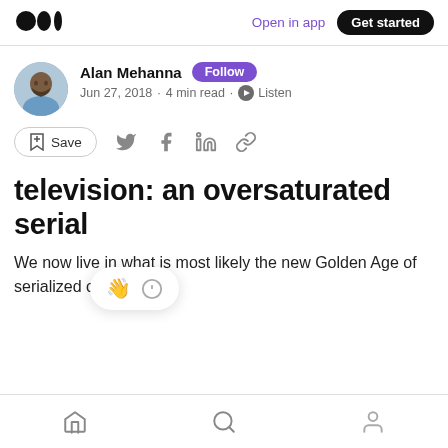Open in app  Get started
[Figure (photo): Author avatar photo of Alan Mehanna holding a book]
Alan Mehanna  Follow
Jun 27, 2018 · 4 min read · Listen
Save (bookmark icon, Twitter, Facebook, LinkedIn, link icons)
television: an oversaturated serial
We now live in what is most likely the new Golden Age of serialized content.
Home  Search  Profile (bottom navigation)